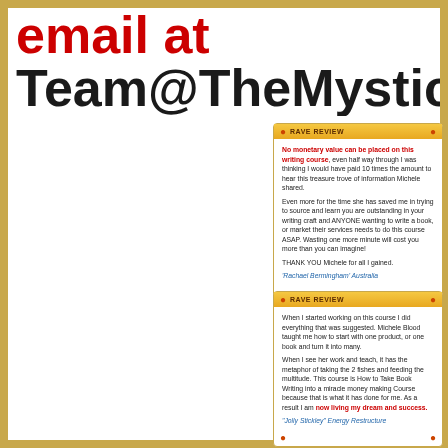email at
Team@TheMysticalExper
No monetary value can be placed on this writing course, even half way through I was thinking I would have paid 10 times the amount to hear this treasure trove of information Michele shared.

Even more for the time she has saved me in trying to source and learn you are outstanding in your writing craft and ANYONE wanting to write a book, or market their services needs to do this course ASAP. Wasting one more minute will cost you more than you can imagine!

THANK YOU Michele for all I gained.

'Rachael Bermingham' Australia
When I started working on this course I did everything that was suggested. Michele Blood taught me how to start with one product, or one book and turn it into many.

When I see her work and teach, it has the metaphor of taking the 2 fishes and feeding the multitude. This course is How to Take Book Writing into a miracle money making Course because that is what it has done for me. As a result I am now living my dream and success.

"Jolly Stickley" Energy Restructure